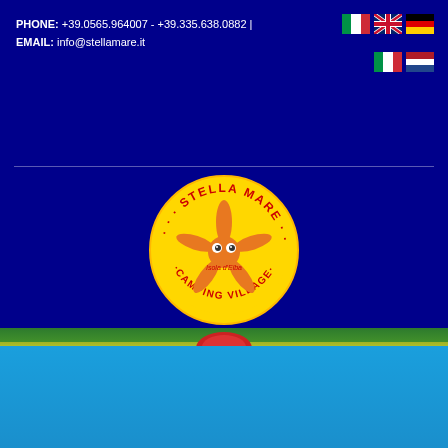PHONE: +39.0565.964007 - +39.335.638.0882 | EMAIL: info@stellamare.it
[Figure (logo): Stella Mare Camping Village logo — circular yellow badge with orange starfish character, text 'STELLA MARE' at top and 'CAMPING VILLAGE' around bottom, 'Isola d'Elba' in center]
[Figure (photo): Bottom portion showing green grass strip at top, red tent/dome in center, yellow horizon line, and blue water/pool below]